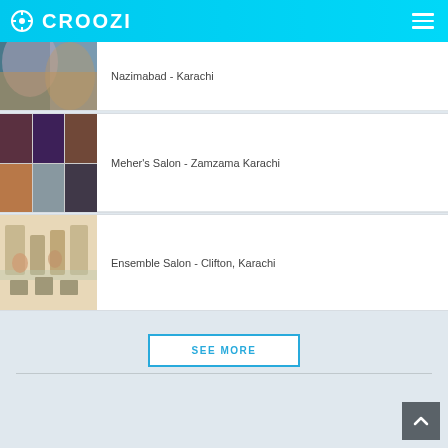CROOZI
[Figure (screenshot): Partially visible listing card with cropped photo on left and text 'Nazimabad - Karachi' on right]
Nazimabad - Karachi
[Figure (screenshot): Listing card for Meher's Salon - Zamzama Karachi with mosaic of hair/beauty photos]
Meher's Salon - Zamzama Karachi
[Figure (screenshot): Listing card for Ensemble Salon - Clifton, Karachi with salon interior photo]
Ensemble Salon - Clifton, Karachi
SEE MORE